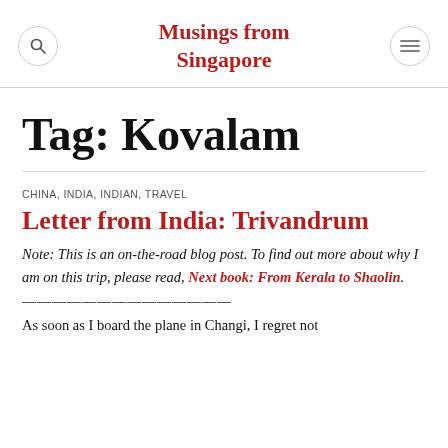Musings from Singapore
Tag: Kovalam
CHINA, INDIA, INDIAN, TRAVEL
Letter from India: Trivandrum
Note: This is an on-the-road blog post. To find out more about why I am on this trip, please read, Next book: From Kerala to Shaolin.
——————————————
As soon as I board the plane in Changi, I regret not